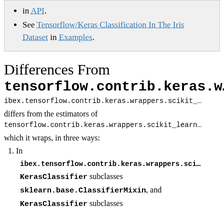in API.
See Tensorflow/Keras Classification In The Iris Dataset in Examples.
Differences From tensorflow.contrib.keras.w…
ibex.tensorflow.contrib.keras.wrappers.scikit_ differs from the estimators of tensorflow.contrib.keras.wrappers.scikit_learn which it wraps, in three ways:
1. In ibex.tensorflow.contrib.keras.wrappers.sci… KerasClassifier subclasses sklearn.base.ClassifierMixin, and KerasClassifier subclasses